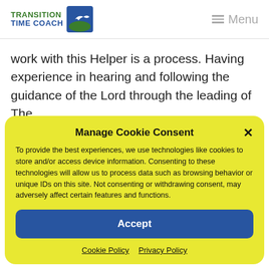TRANSITION TIME COACH — Menu
work with this Helper is a process. Having experience in hearing and following the guidance of the Lord through the leading of The
Manage Cookie Consent
To provide the best experiences, we use technologies like cookies to store and/or access device information. Consenting to these technologies will allow us to process data such as browsing behavior or unique IDs on this site. Not consenting or withdrawing consent, may adversely affect certain features and functions.
Accept
Cookie Policy   Privacy Policy